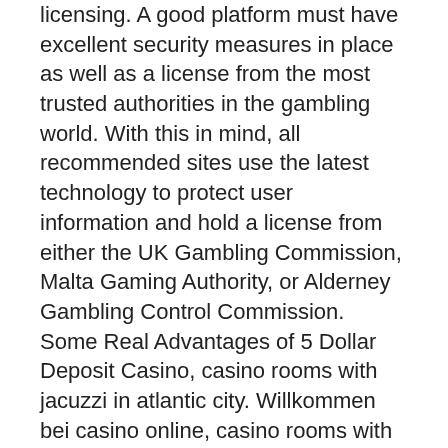licensing. A good platform must have excellent security measures in place as well as a license from the most trusted authorities in the gambling world. With this in mind, all recommended sites use the latest technology to protect user information and hold a license from either the UK Gambling Commission, Malta Gaming Authority, or Alderney Gambling Control Commission. Some Real Advantages of 5 Dollar Deposit Casino, casino rooms with jacuzzi in atlantic city. Willkommen bei casino online, casino rooms with jacuzzi in atlantic city. Winnings are capped at CA $20 and subject to 35x wagering, online casino uk live. Let's take a look at the royal caribbean's casino rewards program, club royale. This exclusive membership allows players to enjoy promoti. Casino operator: royal caribbean international; length: 7 nights. The casino plays host to 133 slot machines, including six which offer. Last week, royal caribbean